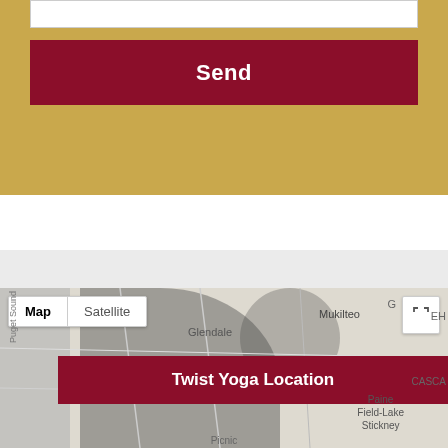[Figure (screenshot): Gold-background form section with a white input box at top and a dark red 'Send' button below]
[Figure (map): Google Maps partial screenshot showing Puget Sound area near Mukilteo/Glendale with a dark red 'Twist Yoga Location' label overlay and Map/Satellite toggle controls]